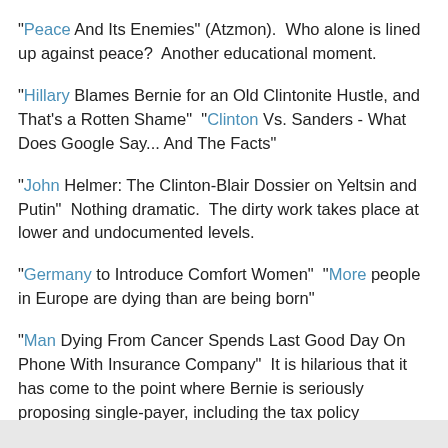"Peace And Its Enemies" (Atzmon).  Who alone is lined up against peace?  Another educational moment.
"Hillary Blames Bernie for an Old Clintonite Hustle, and That's a Rotten Shame"  "Clinton Vs. Sanders - What Does Google Say... And The Facts"
"John Helmer: The Clinton-Blair Dossier on Yeltsin and Putin"  Nothing dramatic.  The dirty work takes place at lower and undocumented levels.
"Germany to Introduce Comfort Women"  "More people in Europe are dying than are being born"
"Man Dying From Cancer Spends Last Good Day On Phone With Insurance Company"  It is hilarious that it has come to the point where Bernie is seriously proposing single-payer, including the tax policy implications of financing it, and Hillary is fighting it tooth and nail.